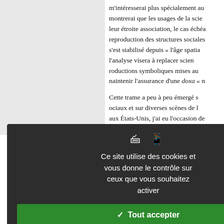m'intéresserai plus spécialement au montrerai que les usages de la scie leur étroite association, le cas échéa reproduction des structures sociales s'est stabilisé depuis « l'âge spatia l'analyse visera à replacer scien roductions symboliques mises au naintenir l'assurance d'une doxa « n
Cette trame a peu à peu émergé s ociaux et sur diverses scènes de l aux États-Unis, j'ai eu l'occasion de ction spatiale. Lors des réunions d management des missions spatiales t même entendu que des référenc Fondation » d'Isaac Asimov ou à t nterstellar, etc.) soient introduites p éflexion. Ces références sont d'au négligeables, les ingénieurs et les remières expériences de lecture de hase avec l'idéologie professionnel ervices de relations publiques et advocates » coalisé·e·s dans des Lambright, 2014) usent tout autant t les ambitions des organisations qu
[Figure (screenshot): Cookie consent dialog overlay with dark background. Shows two icon symbols at top, then text 'Ce site utilise des cookies et vous donne le contrôle sur ceux que vous souhaitez activer'. Three buttons: green 'Tout accepter', red 'Tout refuser', white 'Personnaliser'. Link text 'Politique de confidentialité' at bottom.]